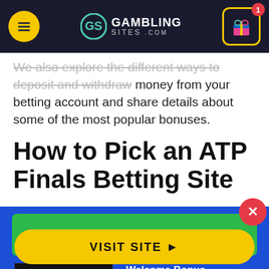GamblingS ites.com
We also explore the different ways to deposit and withdraw money from your betting account and share details about some of the most popular bonuses.
How to Pick an ATP Finals Betting Site
August Sportsbook of the Month
[Figure (logo): BetOnline.ag logo on black background]
Welcome Bonus
50% up to $1,000
VISIT SITE ▶